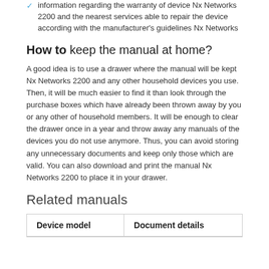information regarding the warranty of device Nx Networks 2200 and the nearest services able to repair the device according with the manufacturer's guidelines Nx Networks
How to keep the manual at home?
A good idea is to use a drawer where the manual will be kept Nx Networks 2200 and any other household devices you use. Then, it will be much easier to find it than look through the purchase boxes which have already been thrown away by you or any other of household members. It will be enough to clear the drawer once in a year and throw away any manuals of the devices you do not use anymore. Thus, you can avoid storing any unnecessary documents and keep only those which are valid. You can also download and print the manual Nx Networks 2200 to place it in your drawer.
Related manuals
| Device model | Document details |
| --- | --- |